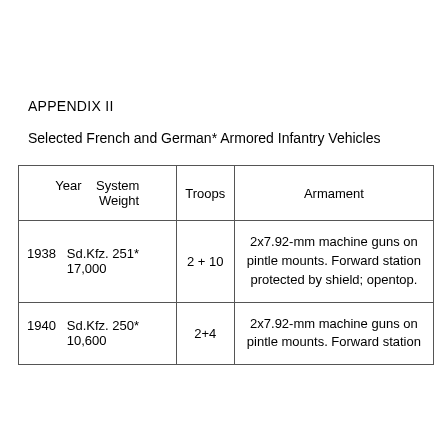APPENDIX II
Selected French and German* Armored Infantry Vehicles
| Year | System Weight | Troops | Armament |
| --- | --- | --- | --- |
| 1938 | Sd.Kfz. 251*
17,000 | 2 + 10 | 2x7.92-mm machine guns on pintle mounts. Forward station protected by shield; opentop. |
| 1940 | Sd.Kfz. 250*
10,600 | 2+4 | 2x7.92-mm machine guns on pintle mounts. Forward station |